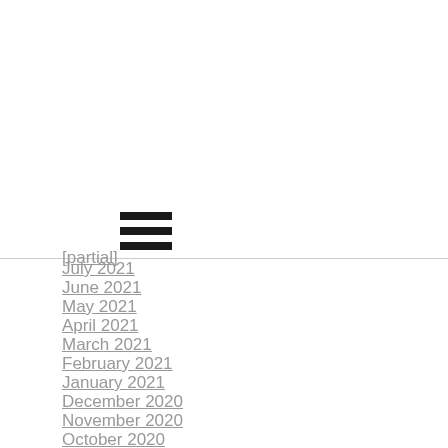[Figure (other): Hamburger menu icon with three horizontal black bars]
July 2021
June 2021
May 2021
April 2021
March 2021
February 2021
January 2021
December 2020
November 2020
October 2020
September 2020
August 2020
July 2020
June 2020
May 2020
April 2020
March 2020
February 2020